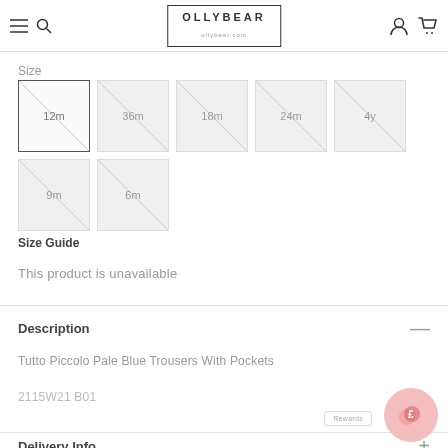OLLYBEAR
Size
[Figure (other): Size selector grid showing sizes: 12m (selected), 36m, 18m, 24m, 4y, 9m, 6m — all marked with diagonal strikethrough indicating out of stock]
Size Guide
This product is unavailable
Description
Tutto Piccolo Pale Blue Trousers With Pockets
2115W21 B01
Delivery Info